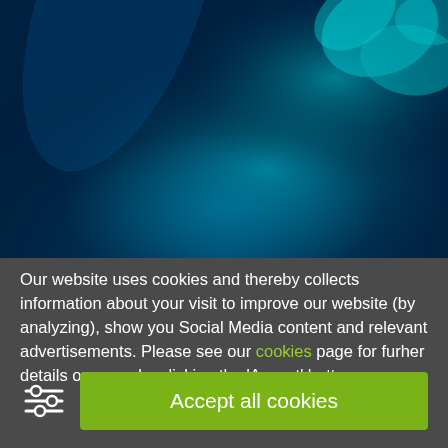[Figure (photo): Abstract blue-teal background with blurred biological or underwater shapes, including what appears to be leaf or cell-like structures in the upper right corner]
Our website uses cookies and thereby collects information about your visit to improve our website (by analyzing), show you Social Media content and relevant advertisements. Please see our cookies page for furher details or agree by clicking the 'Accept' button.
Accept all cookies